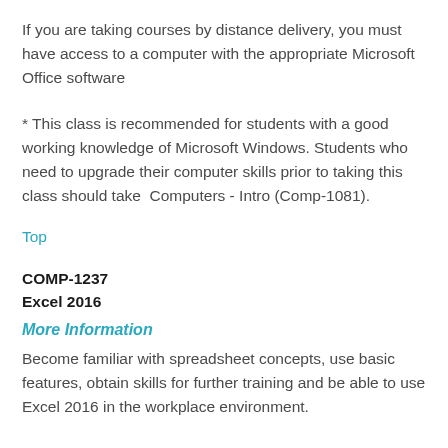If you are taking courses by distance delivery, you must have access to a computer with the appropriate Microsoft Office software
* This class is recommended for students with a good working knowledge of Microsoft Windows. Students who need to upgrade their computer skills prior to taking this class should take  Computers - Intro (Comp-1081).
Top
COMP-1237
Excel 2016
More Information
Become familiar with spreadsheet concepts, use basic features, obtain skills for further training and be able to use Excel 2016 in the workplace environment.